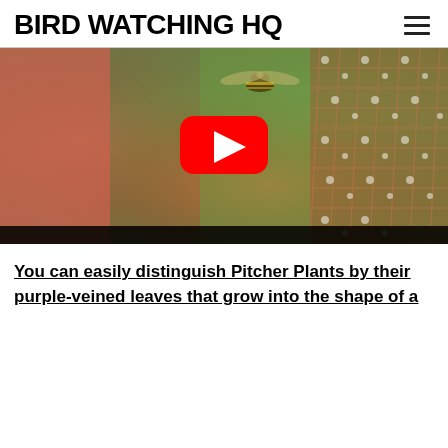BIRD WATCHING HQ
[Figure (screenshot): YouTube video thumbnail showing a wasp near a pitcher plant with a red YouTube play button overlay in the center]
You can easily distinguish Pitcher Plants by their purple-veined leaves that grow into the shape of a pitcher. The pitcher captures and digests insects.